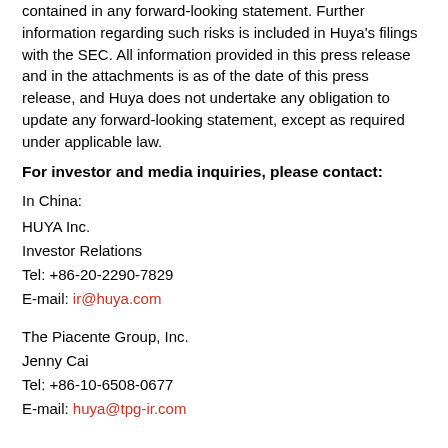contained in any forward-looking statement. Further information regarding such risks is included in Huya's filings with the SEC. All information provided in this press release and in the attachments is as of the date of this press release, and Huya does not undertake any obligation to update any forward-looking statement, except as required under applicable law.
For investor and media inquiries, please contact:
In China:
HUYA Inc.
Investor Relations
Tel: +86-20-2290-7829
E-mail: ir@huya.com
The Piacente Group, Inc.
Jenny Cai
Tel: +86-10-6508-0677
E-mail: huya@tpg-ir.com